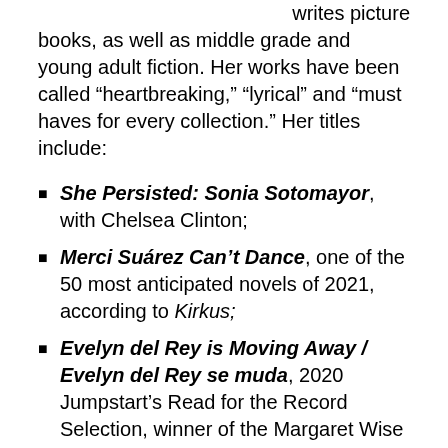writes picture books, as well as middle grade and young adult fiction. Her works have been called “heapbreaking,” “lyrical” and “must haves for every collection.” Her titles include:
She Persisted: Sonia Sotomayor, with Chelsea Clinton;
Merci Suárez Can’t Dance, one of the 50 most anticipated novels of 2021, according to Kirkus;
Evelyn del Rey is Moving Away / Evelyn del Rey se muda, 2020 Jumpstart’s Read for the Record Selection, winner of the Margaret Wise Brown Prize in Children’s Literature, and 2021 Crystal Kite Award;
Merci Suárez Changes Gears, 2019 John Newbery Medal winner, and 2019 Charlotte Huck Honor Book;
Burn Baby Burn, long-listed for the 2016 National Book Award, short-listed for the Kirkus Prize, and a